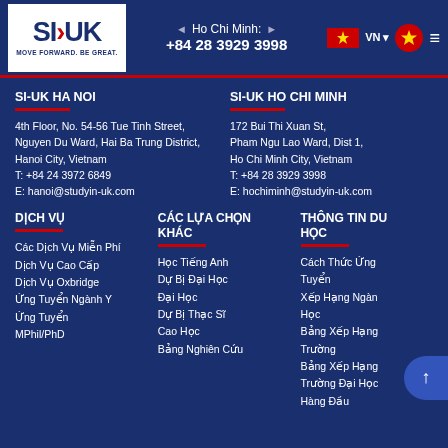Ho Chi Minh: +84 28 3929 3998
SI-UK HA NOI
4th Floor, No. 54-56 Tue Tinh Street,
Nguyen Du Ward, Hai Ba Trung District,
Hanoi City, Vietnam
T: +84 24 3972 6849
E: hanoi@studyin-uk.com
SI-UK HO CHI MINH
172 Bui Thi Xuan St,
Pham Ngu Lao Ward, Dist 1,
Ho Chi Minh City, Vietnam
T: +84 28 3929 3998
E: hochiminh@studyin-uk.com
DỊCH VỤ
Các Dịch Vụ Miễn Phí
Dịch Vụ Cao Cấp
Dịch Vụ Oxbridge
Ứng Tuyển Ngành Y
Ứng Tuyển MPhil/PhD
CÁC LỰA CHỌN KHÁC
Học Tiếng Anh
Dự Bị Đại Học
Đại Học
Dự Bị Thạc Sĩ
Cao Học
Bảng Nghiên Cứu
THÔNG TIN DU HỌC
Cách Thức Ứng Tuyển
Xếp Hạng Ngàn Học
Bảng Xếp Hạng Trường
Bảng Xếp Hạng Trường Đại Học Hàng Đầu